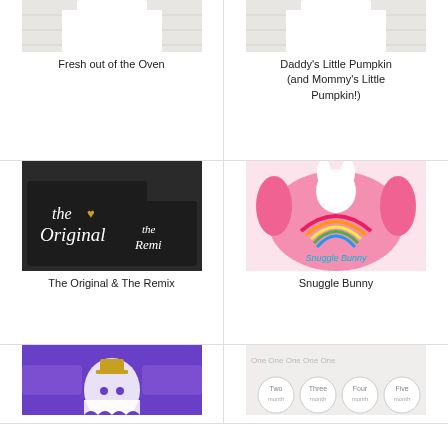[Figure (photo): Partial top of white baby onesie product photo]
Fresh out of the Oven
[Figure (photo): Partial top of white baby onesie product photo]
Daddy's Little Pumpkin (and Mommy's Little Pumpkin!)
[Figure (photo): Black matching shirts - adult and child - reading 'the Original' and 'the Remix' in white and gold script]
The Original & The Remix
[Figure (photo): Pink ruffle long-sleeve baby bodysuit with bunny and rainbow graphic reading 'Snuggle Bunny']
Snuggle Bunny
[Figure (photo): Purple long-sleeve shirt with ghost graphic, partially visible]
[Figure (photo): Light colored product with circular milestone badge stickers showing Two, Three, Four, Five months labels, partially visible]